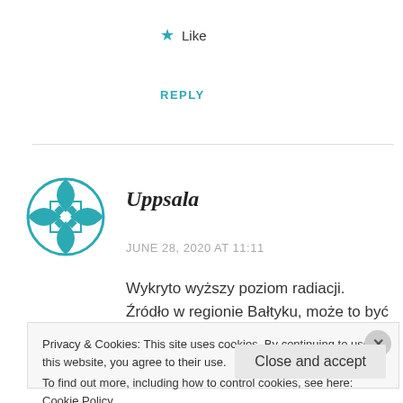★ Like
REPLY
Uppsala
JUNE 28, 2020 AT 11:11
Wykryto wyższy poziom radiacji. Źródło w regionie Bałtyku, może to być Rosja, Petersburg
https://polskieradio24.pl/5/3/Artykul/2540748
Privacy & Cookies: This site uses cookies. By continuing to use this website, you agree to their use.
To find out more, including how to control cookies, see here: Cookie Policy
Close and accept